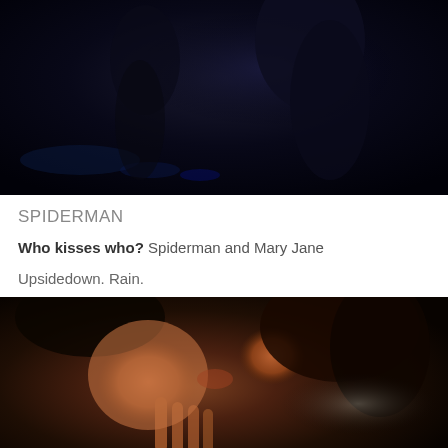[Figure (photo): Dark moody photo from Spiderman movie showing figures against a dark blue-black background]
SPIDERMAN
Who kisses who? Spiderman and Mary Jane
Upsidedown. Rain.
[Figure (photo): Close-up photo of the iconic upside-down rain kiss scene from Spiderman between Spiderman (masked) and Mary Jane]